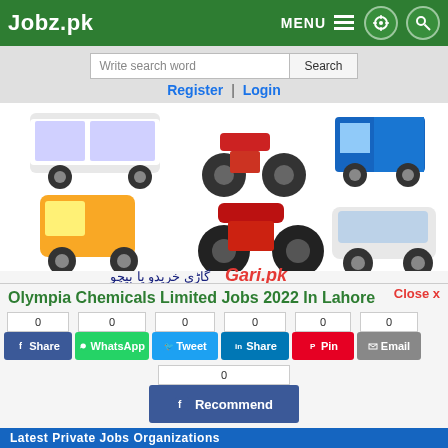Jobz.pk | MENU | settings | search
[Figure (screenshot): Search bar with 'Write search word' input and Search button, with Register | Login links below]
[Figure (photo): Gari.pk advertisement banner showing various vehicles (bus, motorcycle, truck, auto-rickshaw, SUV) with Urdu text and Gari.pk branding in red]
Olympia Chemicals Limited Jobs 2022 In Lahore
[Figure (screenshot): Social share buttons: Share (0), WhatsApp (0), Tweet (0), Share LinkedIn (0), Pin (0), Email (0), and Recommend (0) buttons]
[Figure (screenshot): Action buttons: Job Closed, Save, Comment, Print, and blue scroll-to-top arrow button]
Latest Private Jobs Organizations